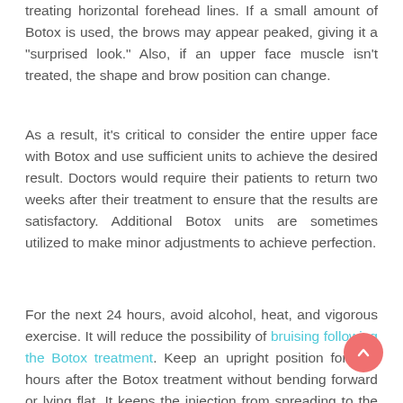treating horizontal forehead lines. If a small amount of Botox is used, the brows may appear peaked, giving it a "surprised look." Also, if an upper face muscle isn't treated, the shape and brow position can change.
As a result, it's critical to consider the entire upper face with Botox and use sufficient units to achieve the desired result. Doctors would require their patients to return two weeks after their treatment to ensure that the results are satisfactory. Additional Botox units are sometimes utilized to make minor adjustments to achieve perfection.
For the next 24 hours, avoid alcohol, heat, and vigorous exercise. It will reduce the possibility of bruising following the Botox treatment. Keep an upright position for four hours after the Botox treatment without bending forward or lying flat. It keeps the injection from spreading to the surrounding muscle and triggering adverse effects like droopy eyelids.